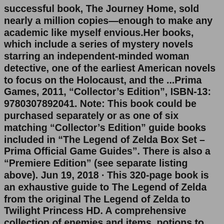successful book, The Journey Home, sold nearly a million copies—enough to make any academic like myself envious.Her books, which include a series of mystery novels starring an independent-minded woman detective, one of the earliest American novels to focus on the Holocaust, and the ...Prima Games, 2011, "Collector's Edition", ISBN-13: 9780307892041. Note: This book could be purchased separately or as one of six matching "Collector's Edition" guide books included in "The Legend of Zelda Box Set – Prima Official Game Guides". There is also a "Premiere Edition" (see separate listing above). Jun 19, 2018 · This 320-page book is an exhaustive guide to The Legend of Zelda from the original The Legend of Zelda to Twilight Princess HD. A comprehensive collection of enemies and items, potions to poes, an expansion of the lore touched upon in Hyrule Historia, concept art, screencaps, maps, main characters and how they relate, languages, and tons of extras including an exclusive interview with Series ... The Legend of Zelda Official Sticker Book (Nintendo...